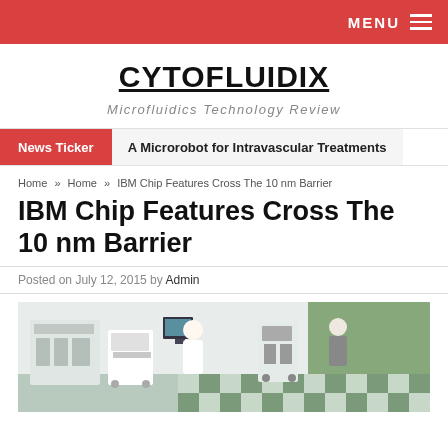MENU
CYTOFLUIDIX
Microfluidics Technology Review
News Ticker   A Microrobot for Intravascular Treatments
Home » Home » IBM Chip Features Cross The 10 nm Barrier
IBM Chip Features Cross The 10 nm Barrier
Posted on July 12, 2015 by Admin
[Figure (photo): Laboratory cleanroom or medical/tech facility with white-clad equipment, medical devices on wheels, and a green/white checkered floor]